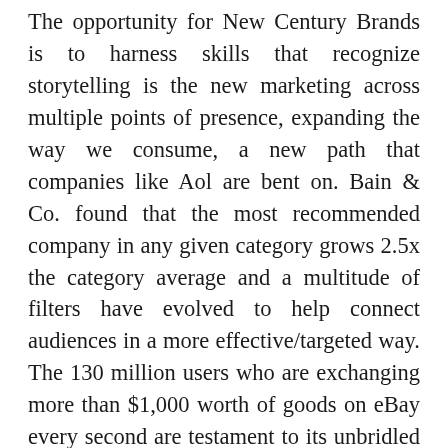The opportunity for New Century Brands is to harness skills that recognize storytelling is the new marketing across multiple points of presence, expanding the way we consume, a new path that companies like Aol are bent on. Bain & Co. found that the most recommended company in any given category grows 2.5x the category average and a multitude of filters have evolved to help connect audiences in a more effective/targeted way. The 130 million users who are exchanging more than $1,000 worth of goods on eBay every second are testament to its unbridled success that is a direct result of the online community it has fostered. The business model thrives on a community-generated system of reporting by displaying a seller's history and community-generated